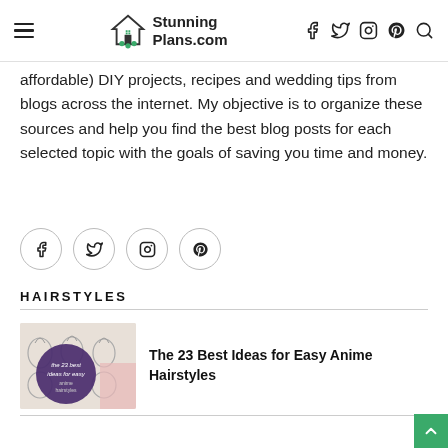StunningPlans.com
affordable) DIY projects, recipes and wedding tips from blogs across the internet. My objective is to organize these sources and help you find the best blog posts for each selected topic with the goals of saving you time and money.
[Figure (illustration): Social media icon buttons: Facebook, Twitter, Instagram, Pinterest — each in a circle outline]
HAIRSTYLES
[Figure (photo): Thumbnail image for article: The 23 Best Ideas for Easy Anime Hairstyles — shows anime hairstyle sketches with a dark purple circular overlay text]
The 23 Best Ideas for Easy Anime Hairstyles